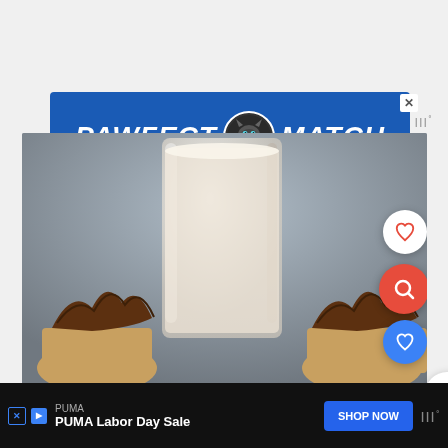[Figure (screenshot): Advertisement banner for 'PAWFECT MATCH' with a cat image in the center on a blue background]
[Figure (photo): Close-up photo of a tall glass of milk or milkshake with chocolate-frosted cupcakes in the foreground, on a gray background. Social action buttons visible on right: heart/save, search, save, and share.]
[Figure (screenshot): Bottom advertisement bar for PUMA Labor Day Sale with 'SHOP NOW' button on dark background]